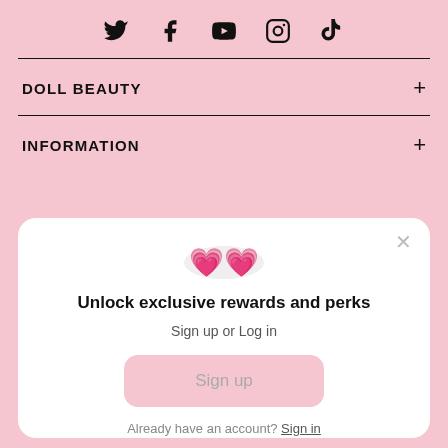[Figure (other): Row of social media icons: Twitter, Facebook, YouTube, Instagram, TikTok]
DOLL BEAUTY +
INFORMATION +
Unlock exclusive rewards and perks
Sign up or Log in
Sign up
Already have an account? Sign in